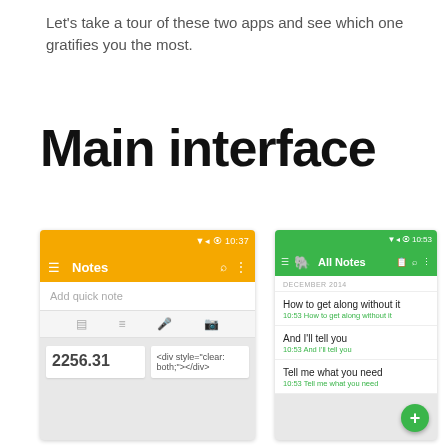Let's take a tour of these two apps and see which one gratifies you the most.
Main interface
[Figure (screenshot): Screenshot of Google Keep Android app showing yellow toolbar with Notes title, Add quick note field, icons for note/list/mic/camera, and two note cards showing '2256.31' and '<div style="clear: both;"></div>']
[Figure (screenshot): Screenshot of Evernote Android app showing green toolbar with All Notes title, list of notes: 'How to get along without it', 'And I'll tell you', 'Tell me what you need' under DECEMBER 2014 section, with green FAB button at bottom right]